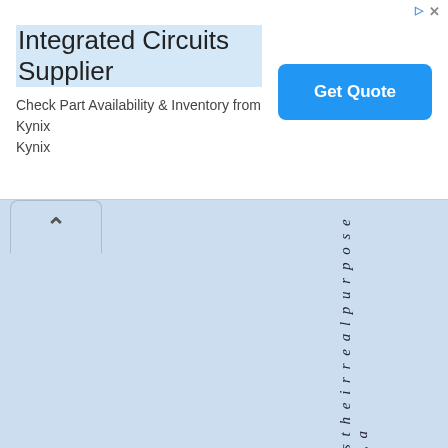[Figure (screenshot): Advertisement banner for Integrated Circuits Supplier - Kynix, with Get Quote button]
s t h e i r r e a l p u r p o s e , a